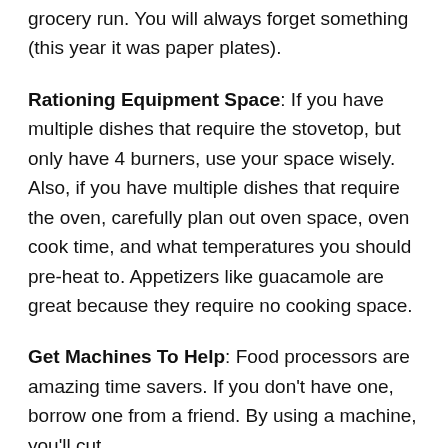grocery run. You will always forget something (this year it was paper plates).
Rationing Equipment Space: If you have multiple dishes that require the stovetop, but only have 4 burners, use your space wisely. Also, if you have multiple dishes that require the oven, carefully plan out oven space, oven cook time, and what temperatures you should pre-heat to. Appetizers like guacamole are great because they require no cooking space.
Get Machines To Help: Food processors are amazing time savers. If you don't have one, borrow one from a friend. By using a machine, you'll cut